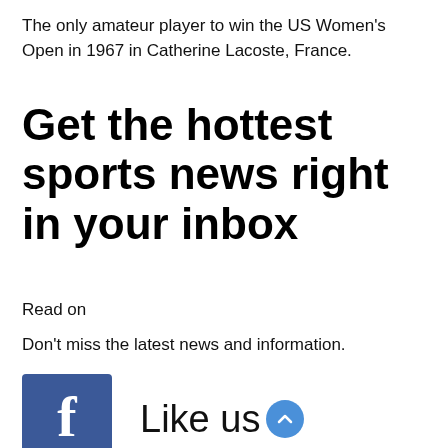The only amateur player to win the US Women's Open in 1967 in Catherine Lacoste, France.
Get the hottest sports news right in your inbox
Read on
Don't miss the latest news and information.
[Figure (logo): Facebook logo (blue square with white 'f') with 'Like us' text and a blue circle arrow button]